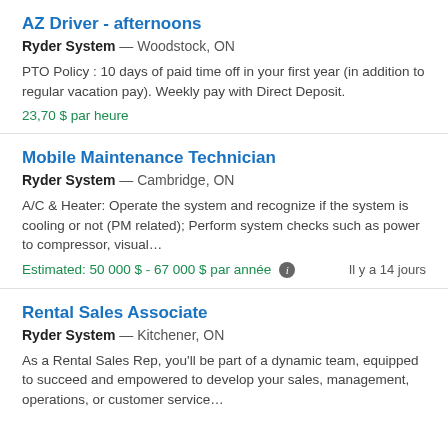AZ Driver - afternoons
Ryder System — Woodstock, ON
PTO Policy : 10 days of paid time off in your first year (in addition to regular vacation pay). Weekly pay with Direct Deposit.
23,70 $ par heure
Mobile Maintenance Technician
Ryder System — Cambridge, ON
A/C & Heater: Operate the system and recognize if the system is cooling or not (PM related); Perform system checks such as power to compressor, visual…
Estimated: 50 000 $ - 67 000 $ par année   Il y a 14 jours
Rental Sales Associate
Ryder System — Kitchener, ON
As a Rental Sales Rep, you'll be part of a dynamic team, equipped to succeed and empowered to develop your sales, management, operations, or customer service…